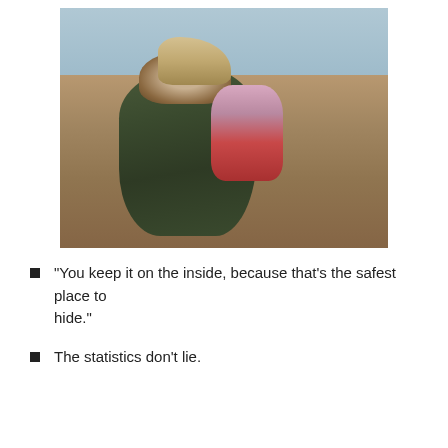[Figure (photo): A woman wearing a dark green/olive fur-hooded coat crouching on a sandy/pebbly beach, holding a baby dressed in pink and red clothing. The shoreline and grey water are visible in the background.]
“You keep it on the inside, because that’s the safest place to hide.”
The statistics don’t lie.